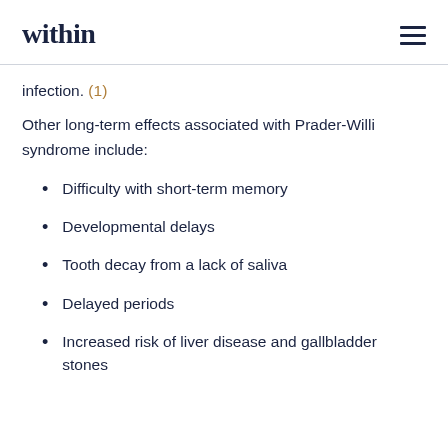within
infection. (1)
Other long-term effects associated with Prader-Willi syndrome include:
Difficulty with short-term memory
Developmental delays
Tooth decay from a lack of saliva
Delayed periods
Increased risk of liver disease and gallbladder stones